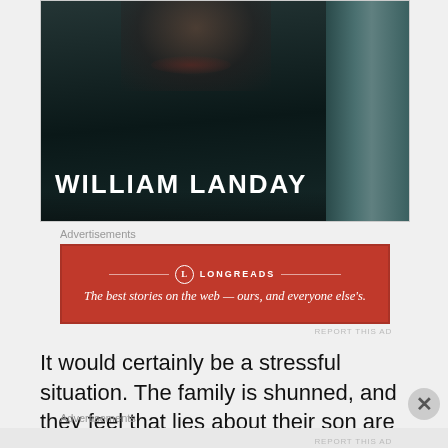[Figure (photo): A book cover with author name WILLIAM LANDAY in large white uppercase letters on a dark teal/dark background, showing a close-up face at the top. Book is shown in 3D perspective with spine visible.]
Advertisements
[Figure (infographic): Red advertisement banner for Longreads with logo circle, divider lines, and tagline: The best stories on the web — ours, and everyone else's.]
REPORT THIS AD
It would certainly be a stressful situation.  The family is shunned, and they feel that lies about their son are
Advertisements
REPORT THIS AD